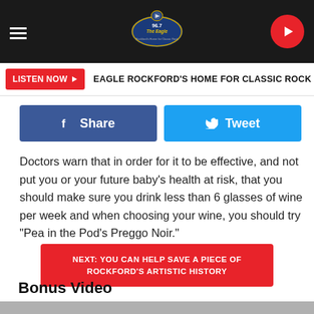96.7 The Eagle — Eagle Rockford's Home for Classic Rock
LISTEN NOW ▶  EAGLE ROCKFORD'S HOME FOR CLASSIC ROCK
[Figure (screenshot): Facebook Share button (blue) and Twitter Tweet button (light blue) side by side]
Doctors warn that in order for it to be effective, and not put you or your future baby's health at risk, that you should make sure you drink less than 6 glasses of wine per week and when choosing your wine, you should try "Pea in the Pod's Preggo Noir."
NEXT: YOU CAN HELP SAVE A PIECE OF ROCKFORD'S ARTISTIC HISTORY
Bonus Video